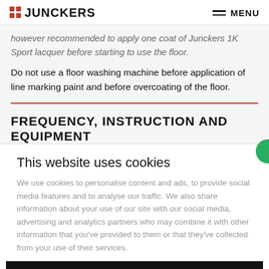JUNCKERS | MENU
...however recommended to apply one coat of Junckers 1K Sport lacquer before starting to use the floor.
Do not use a floor washing machine before application of line marking paint and before overcoating of the floor.
FREQUENCY, INSTRUCTION AND EQUIPMENT
This website uses cookies
We use cookies to personalise content and ads, to provide social media features and to analyse our traffic. We also share information about your use of our site with our social media, advertising and analytics partners who may combine it with other information that you've provided to them or that they've collected from your use of their services.